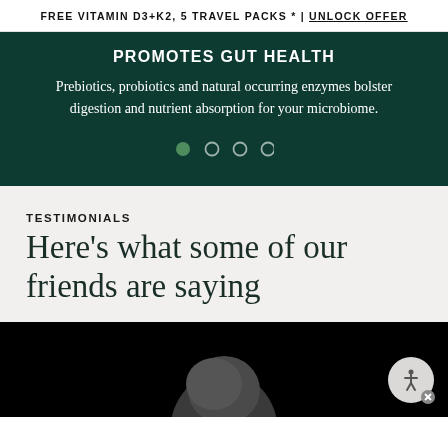FREE VITAMIN D3+K2, 5 TRAVEL PACKS * | UNLOCK OFFER
PROMOTES GUT HEALTH
Prebiotics, probiotics and natural occurring enzymes bolster digestion and nutrient absorption for your microbiome.
[Figure (other): Carousel navigation dots: one filled green dot and three empty circle dots]
TESTIMONIALS
Here’s what some of our friends are saying
[Figure (photo): Black background with partial top of a person's head visible at the bottom center]